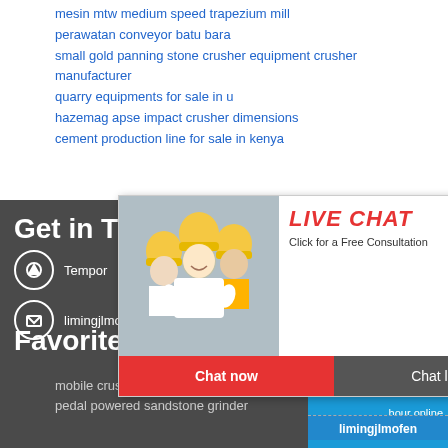mesin mtw medium speed trapezium mill
perawatan conveyor batu bara
small gold panning stone crusher equipment crusher manufacturer
quarry equipments for sale in u
hazemag apse impact crusher dimensions
cement production line for sale in kenya
[Figure (screenshot): Live chat popup with workers in yellow hard hats, LIVE CHAT text in red, Click for a Free Consultation, Chat now and Chat later buttons]
hour online
Get in T
Tempor
limingjlmofen@sina.com
Favorite product
mobile crushed stone crusher mach
pedal powered sandstone grinder
[Figure (illustration): Industrial cone crusher machine illustration in white on blue background]
Click me to chat>>
Enquiry
limingjlmofen